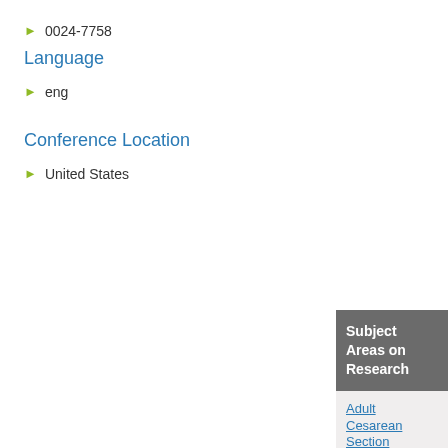0024-7758
Language
eng
Conference Location
United States
Subject Areas on Research
Adult
Cesarean Section